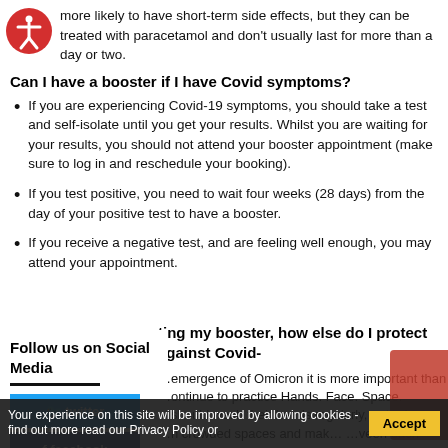more likely to have short-term side effects, but they can be treated with paracetamol and don't usually last for more than a day or two.
Can I have a booster if I have Covid symptoms?
If you are experiencing Covid-19 symptoms, you should take a test and self-isolate until you get your results. Whilst you are waiting for your results, you should not attend your booster appointment (make sure to log in and reschedule your booking).
If you test positive, you need to wait four weeks (28 days) from the day of your positive test to have a booster.
If you receive a negative test, and are feeling well enough, you may attend your appointment.
…ting my booster, how else do I protect against Covid-
Follow us on Social Media
…emergence of Omicron it is more important than …ontinue to practice Hands. Face. Space. …should wash their hands regularly, put a face …n crowded spaces and mak… …veen each
Your experience on this site will be improved by allowing cookies - find out more read our Privacy Policy or
Accept